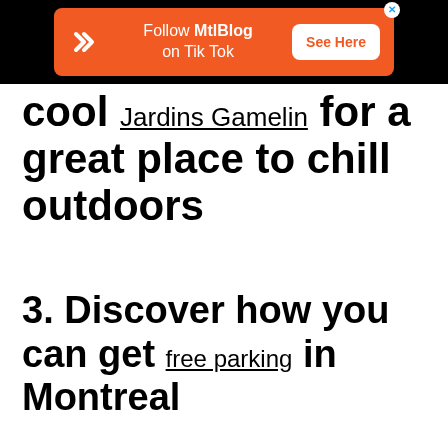[Figure (other): Orange advertisement banner for MtlBlog on TikTok with white logo, text 'Follow MtlBlog on Tik Tok' and 'See Here' button on dark background]
cool Jardins Gamelin for a great place to chill outdoors
3. Discover how you can get free parking in Montreal
4. Sign yourself up for as many free yoga classes as you can